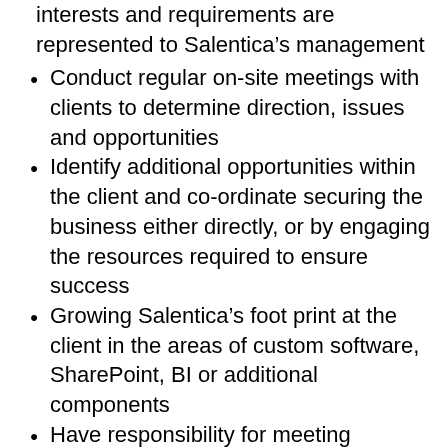interests and requirements are represented to Salentica’s management
Conduct regular on-site meetings with clients to determine direction, issues and opportunities
Identify additional opportunities within the client and co-ordinate securing the business either directly, or by engaging the resources required to ensure success
Growing Salentica’s foot print at the client in the areas of custom software, SharePoint, BI or additional components
Have responsibility for meeting revenue targets from the Accounts managed
Assist Salentica’s sales team with prospect product demonstrations & presentations
Have or develop a thorough knowledge of Salesforce and/or Microsoft Dynamics CRM and Salentica CRM and how the solution can